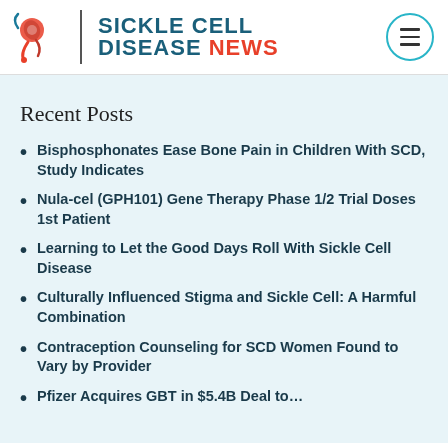SICKLE CELL DISEASE NEWS
Recent Posts
Bisphosphonates Ease Bone Pain in Children With SCD, Study Indicates
Nula-cel (GPH101) Gene Therapy Phase 1/2 Trial Doses 1st Patient
Learning to Let the Good Days Roll With Sickle Cell Disease
Culturally Influenced Stigma and Sickle Cell: A Harmful Combination
Contraception Counseling for SCD Women Found to Vary by Provider
Pfizer Acquires GBT in $5.4B Deal to…